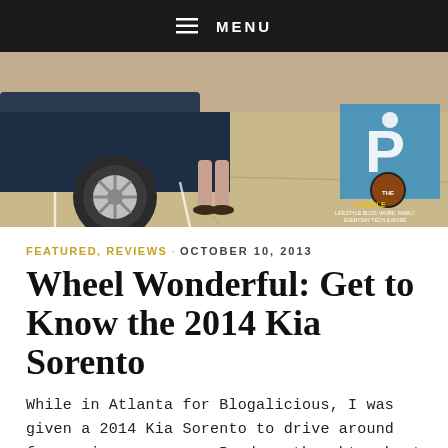≡ MENU
[Figure (photo): A parking lot scene showing a car wheel and tire in the foreground, a person's legs and sandaled feet visible near the car, and a blue painted parking space marking in the upper right. A blog watermark 'The Cubicle Chick' logo is in the lower right corner.]
FEATURED, REVIEWS · OCTOBER 10, 2013
Wheel Wonderful: Get to Know the 2014 Kia Sorento
While in Atlanta for Blogalicious, I was given a 2014 Kia Sorento to drive around for review purposes. Read my thoughts about the vehicle & see pics.